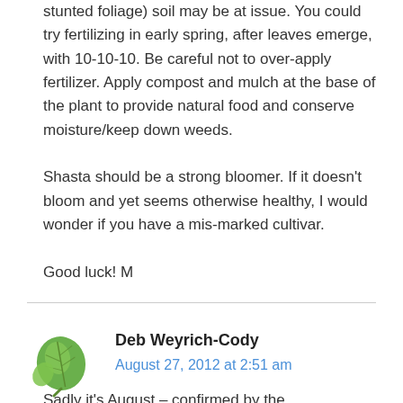stunted foliage) soil may be at issue. You could try fertilizing in early spring, after leaves emerge, with 10-10-10. Be careful not to over-apply fertilizer. Apply compost and mulch at the base of the plant to provide natural food and conserve moisture/keep down weeds.
Shasta should be a strong bloomer. If it doesn't bloom and yet seems otherwise healthy, I would wonder if you have a mis-marked cultivar.
Good luck! M
[Figure (illustration): Green leaf avatar icon for commenter Deb Weyrich-Cody]
Deb Weyrich-Cody
August 27, 2012 at 2:51 am
Sadly it's August – confirmed by the